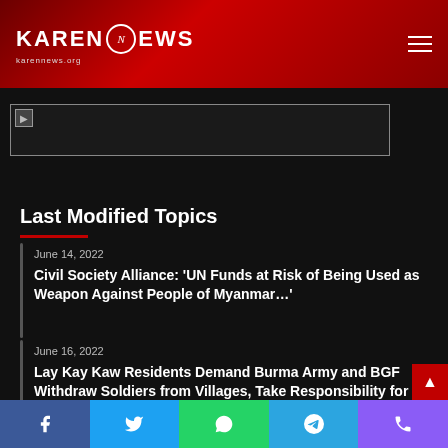Karen News
[Figure (logo): Karen News logo with circle N emblem on red header background]
[Figure (other): Broken/missing banner advertisement image]
Last Modified Topics
June 14, 2022
Civil Society Alliance: ‘UN Funds at Risk of Being Used as Weapon Against People of Myanmar…’
June 16, 2022
Lay Kay Kaw Residents Demand Burma Army and BGF Withdraw Soldiers from Villages, Take Responsibility for Landmines